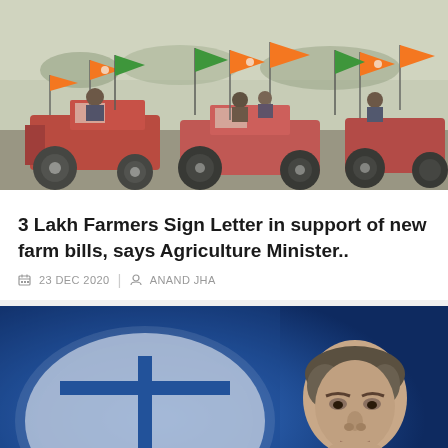[Figure (photo): Farmers riding tractors decorated with BJP party orange and green flags at a political rally, outdoors with foggy/hazy background and many people visible]
3 Lakh Farmers Sign Letter in support of new farm bills, says Agriculture Minister..
23 DEC 2020 | ANAND JHA
[Figure (photo): Ratan Tata (elderly Indian businessman in dark suit) speaking at a podium/microphone, with the large TATA logo (oval with T divider) in blue visible in the background]